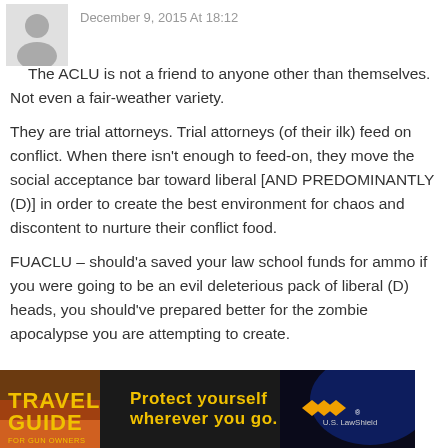[Figure (illustration): Grey silhouette avatar icon of a person, used as a comment profile picture]
December 9, 2015 At 18:12
The ACLU is not a friend to anyone other than themselves. Not even a fair-weather variety.
They are trial attorneys. Trial attorneys (of their ilk) feed on conflict. When there isn't enough to feed-on, they move the social acceptance bar toward liberal [AND PREDOMINANTLY (D)] in order to create the best environment for chaos and discontent to nurture their conflict food.
FUACLU – should'a saved your law school funds for ammo if you were going to be an evil deleterious pack of liberal (D) heads, you should've prepared better for the zombie apocalypse you are attempting to create.
[Figure (photo): Advertisement banner: Travel Guide for Gun Owners. Text reads 'Protect yourself wherever you go.' with US LawShield logo and arrow graphics on a dark background.]